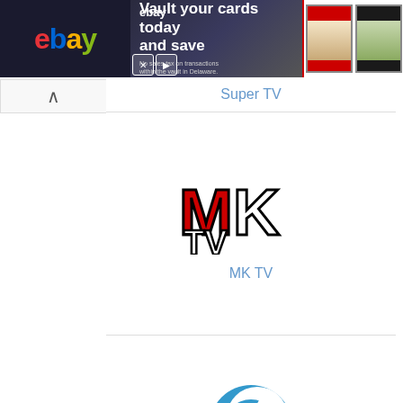[Figure (screenshot): eBay advertisement banner for card vault service with two graded baseball card images on the right]
Super TV
[Figure (logo): MK TV logo with red M, outlined K, and TV text]
MK TV
[Figure (logo): Moon TV logo with blue crescent moon circle design and orange MOON text]
Moon TV
[Figure (logo): Arra TV logo with black square border containing stylized a with rainbow colors and ARRA text]
Arra TV